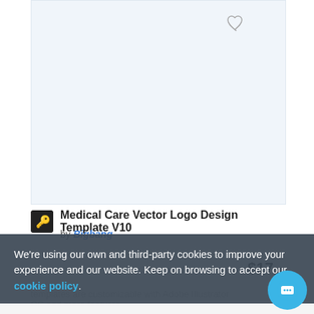[Figure (photo): White/light blue image placeholder area for Medical Care Vector Logo Design Template V10]
Medical Care Vector Logo Design Template V10
by Bigbang
We're using our own and third-party cookies to improve your experience and our website. Keep on browsing to accept our cookie policy.
Accept
$17